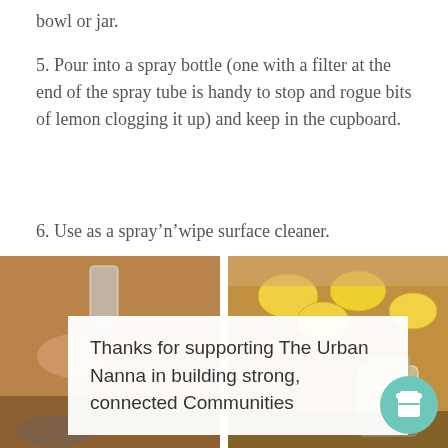bowl or jar.
5. Pour into a spray bottle (one with a filter at the end of the spray tube is handy to stop and rogue bits of lemon clogging it up) and keep in the cupboard.
6. Use as a spray’n’wipe surface cleaner.
[Figure (photo): Two side-by-side photos showing hands with a glass spray bottle (left) and lemons with a glass jar (right), with an overlaid white card reading 'Thanks for supporting The Urban Nanna in building strong, connected Communities' and a teal coffee cup button.]